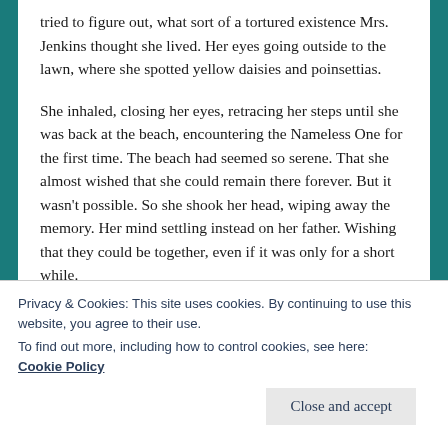tried to figure out, what sort of a tortured existence Mrs. Jenkins thought she lived. Her eyes going outside to the lawn, where she spotted yellow daisies and poinsettias.
She inhaled, closing her eyes, retracing her steps until she was back at the beach, encountering the Nameless One for the first time. The beach had seemed so serene. That she almost wished that she could remain there forever. But it wasn't possible. So she shook her head, wiping away the memory. Her mind settling instead on her father. Wishing that they could be together, even if it was only for a short while.
Privacy & Cookies: This site uses cookies. By continuing to use this website, you agree to their use.
To find out more, including how to control cookies, see here: Cookie Policy
Close and accept